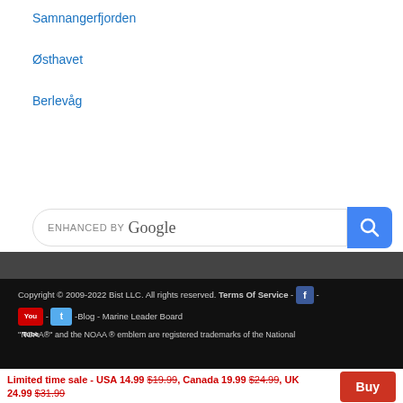Samnangerfjorden
Østhavet
Berlevåg
[Figure (screenshot): Enhanced by Google search box with blue search button]
Copyright © 2009-2022 Bist LLC. All rights reserved. Terms Of Service - [Facebook icon] - [YouTube icon] - [Twitter icon] -Blog - Marine Leader Board
"NOAA®" and the NOAA ® emblem are registered trademarks of the National
Limited time sale - USA 14.99 $19.99, Canada 19.99 $24.99, UK 24.99 $31.99
Buy